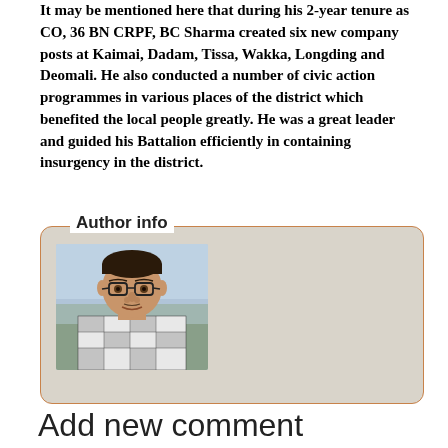It may be mentioned here that during his 2-year tenure as CO, 36 BN CRPF, BC Sharma created six new company posts at Kaimai, Dadam, Tissa, Wakka, Longding and Deomali. He also conducted a number of civic action programmes in various places of the district which benefited the local people greatly. He was a great leader and guided his Battalion efficiently in containing insurgency in the district.
Author info
[Figure (photo): Headshot photo of a man wearing glasses and a checkered shirt, outdoors background]
Freelance Journalist, Milan Nagar, Dibrugarh.
Add new comment
Your name *